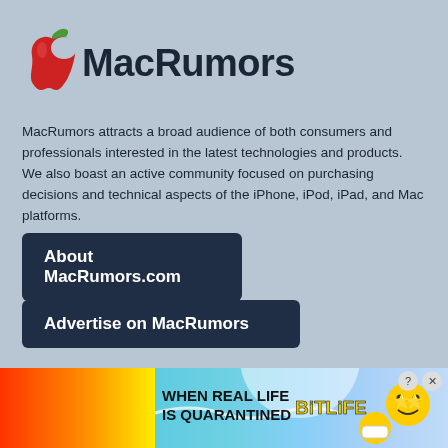[Figure (logo): MacRumors logo: red apple with bite taken out and leaf, next to bold text 'MacRumors']
MacRumors attracts a broad audience of both consumers and professionals interested in the latest technologies and products. We also boast an active community focused on purchasing decisions and technical aspects of the iPhone, iPod, iPad, and Mac platforms.
About MacRumors.com
Advertise on MacRumors
Our Staff
Arnold Kim
Editorial Director
Email • Twitter
Eric Slivka
Editor in Chief
Email • Twitter
Juli Clove
Senior Edit
Email • Twi
[Figure (illustration): BitLife game advertisement banner: colorful rainbow background with text 'WHEN REAL LIFE IS QUARANTINED' and BitLife logo with emoji characters]